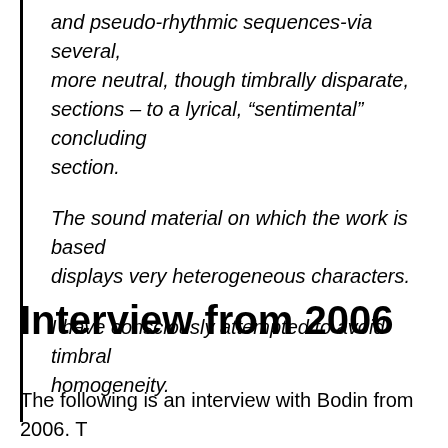and pseudo-rhythmic sequences-via several, more neutral, though timbrally disparate, sections – to a lyrical, “sentimental” concluding section.

The sound material on which the work is based displays very heterogeneous characters.

I have consciously attempted to avoid timbral homogeneity.
Interview from 2006
The following is an interview with Bodin from 2006. T